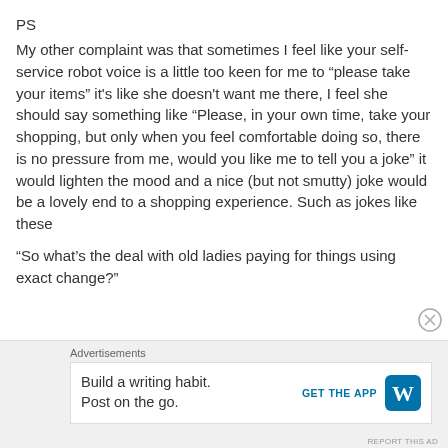PS
My other complaint was that sometimes I feel like your self-service robot voice is a little too keen for me to “please take your items” it's like she doesn't want me there, I feel she should say something like “Please, in your own time, take your shopping, but only when you feel comfortable doing so, there is no pressure from me, would you like me to tell you a joke” it would lighten the mood and a nice (but not smutty) joke would be a lovely end to a shopping experience. Such as jokes like these
“So what’s the deal with old ladies paying for things using exact change?”
Advertisements
Build a writing habit. Post on the go.
GET THE APP